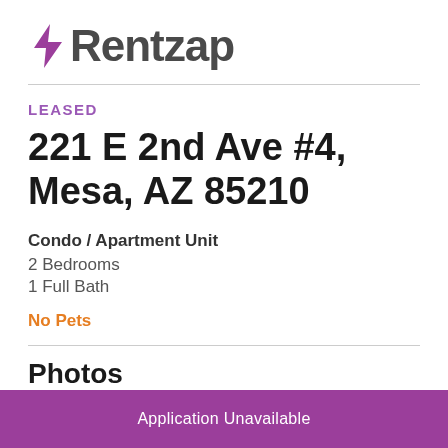Rentzap
LEASED
221 E 2nd Ave #4, Mesa, AZ 85210
Condo / Apartment Unit
2 Bedrooms
1 Full Bath
No Pets
Photos
Application Unavailable